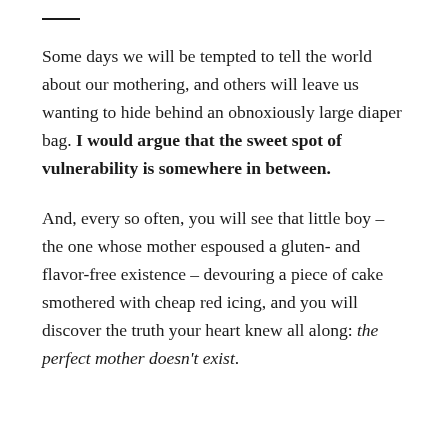Some days we will be tempted to tell the world about our mothering, and others will leave us wanting to hide behind an obnoxiously large diaper bag. I would argue that the sweet spot of vulnerability is somewhere in between.
And, every so often, you will see that little boy – the one whose mother espoused a gluten- and flavor-free existence – devouring a piece of cake smothered with cheap red icing, and you will discover the truth your heart knew all along: the perfect mother doesn't exist.